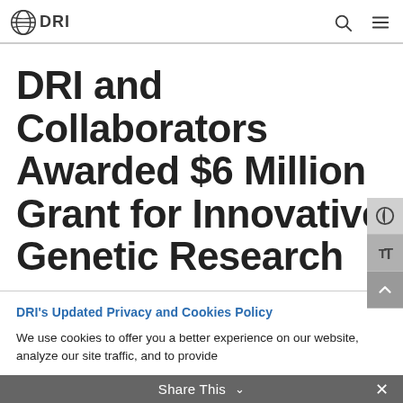DRI
DRI and Collaborators Awarded $6 Million Grant for Innovative Genetic Research
DRI's Updated Privacy and Cookies Policy
We use cookies to offer you a better experience on our website, analyze our site traffic, and to provide
Share This